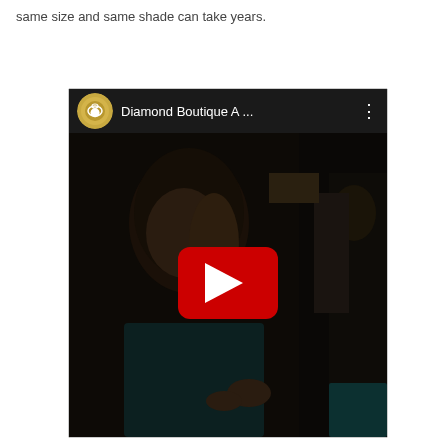same size and same shade can take years.
[Figure (screenshot): YouTube video embed showing a Diamond Boutique channel video titled 'Diamond Boutique A ...' with a dark thumbnail showing a woman with brown hair in a dimly lit room, and a red YouTube play button in the center.]